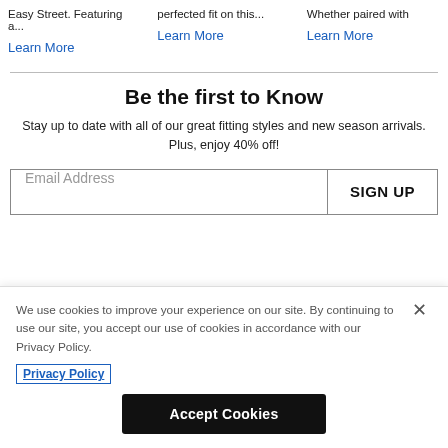Easy Street. Featuring a...
perfected fit on this...
Whether paired with
Learn More
Learn More
Learn More
Be the first to Know
Stay up to date with all of our great fitting styles and new season arrivals. Plus, enjoy 40% off!
Email Address
SIGN UP
We use cookies to improve your experience on our site. By continuing to use our site, you accept our use of cookies in accordance with our Privacy Policy.
Privacy Policy
Accept Cookies